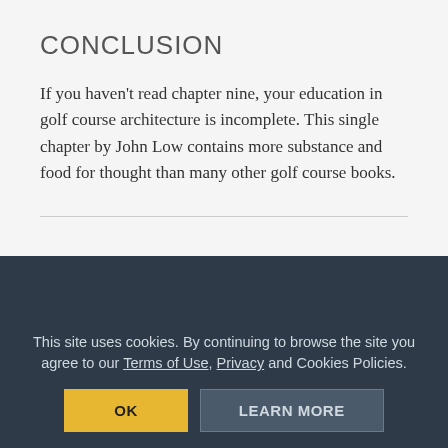CONCLUSION
If you haven't read chapter nine, your education in golf course architecture is incomplete. This single chapter by John Low contains more substance and food for thought than many other golf course books.
READ IF . . .
You want a masterclass in strategic golf course design principles that are as relevant today as they were in 1903!
This site uses cookies. By continuing to browse the site you agree to our Terms of Use, Privacy and Cookies Policies.